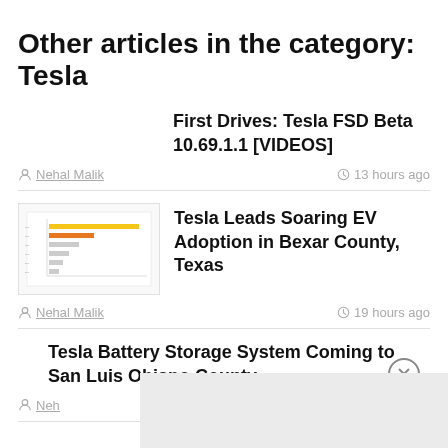Other articles in the category: Tesla
First Drives: Tesla FSD Beta 10.69.1.1 [VIDEOS]
Nehal Malik    13 hours ago
[Figure (screenshot): Thumbnail image of a bar chart showing EV adoption data in Bexar County]
Tesla Leads Soaring EV Adoption in Bexar County, Texas
Nehal Malik    19 hours ago
Tesla Battery Storage System Coming to San Luis Obispo County
Nehal Malik    ys ago